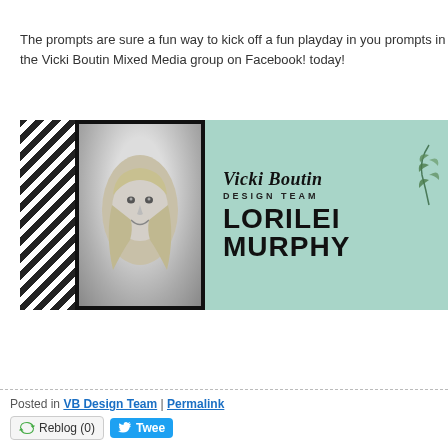The prompts are sure a fun way to kick off a fun playday in you prompts in the Vicki Boutin Mixed Media group on Facebook! today!
[Figure (photo): Banner image showing a black-and-white photo of Lorilei Murphy smiling, with diagonal black and white stripes on the left, and a teal background on the right displaying 'Vicki Boutin DESIGN TEAM LORILEI MURPHY' in bold text with leaf decorations. Below the banner is a handwritten signature 'Vicki' with small heart decorations.]
Posted in VB Design Team | Permalink  Reblog (0)  Tweet